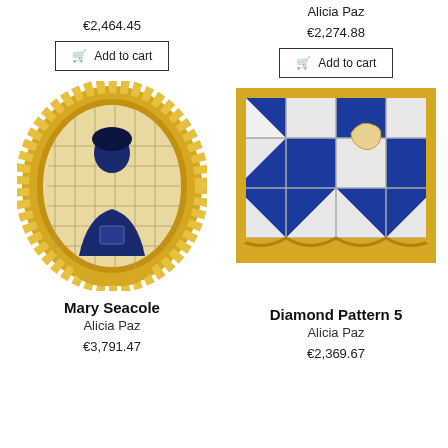€2,464.45
Add to cart
Alicia Paz
€2,274.88
Add to cart
[Figure (photo): Ceramic tile artwork depicting Mary Seacole portrait in blue and white tiles with ornate gold/yellow decorative oval frame]
Mary Seacole
Alicia Paz
€3,791.47
[Figure (photo): Ceramic tile artwork with blue and white diamond/chevron pattern with ornate gold/yellow decorative border frame]
Diamond Pattern 5
Alicia Paz
€2,369.67